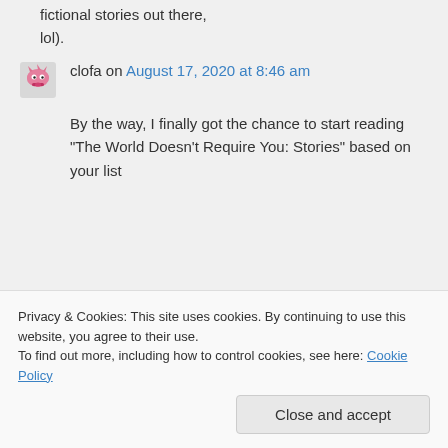fictional stories out there, lol).
clofa on August 17, 2020 at 8:46 am
By the way, I finally got the chance to start reading “The World Doesn’t Require You: Stories” based on your list
Privacy & Cookies: This site uses cookies. By continuing to use this website, you agree to their use.
To find out more, including how to control cookies, see here: Cookie Policy
Close and accept